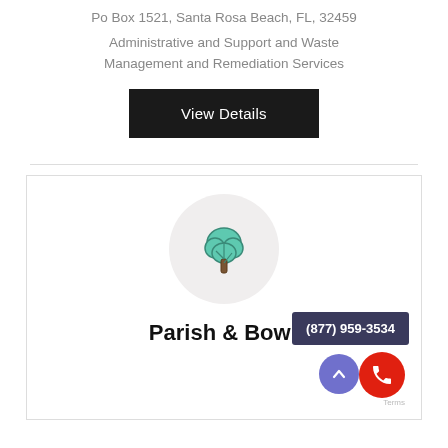Po Box 1521, Santa Rosa Beach, FL, 32459
Administrative and Support and Waste Management and Remediation Services
View Details
[Figure (illustration): Tree icon in a light gray circle]
Parish & Bowr
(877) 959-3534